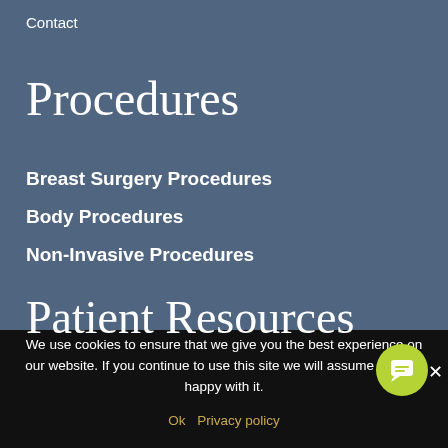Contact
Procedures
Breast Surgery Procedures
Body Procedures
Non-Invasive Procedures
Patient Resources
We use cookies to ensure that we give you the best experience on our website. If you continue to use this site we will assume you are happy with it.
Ok   Privacy policy